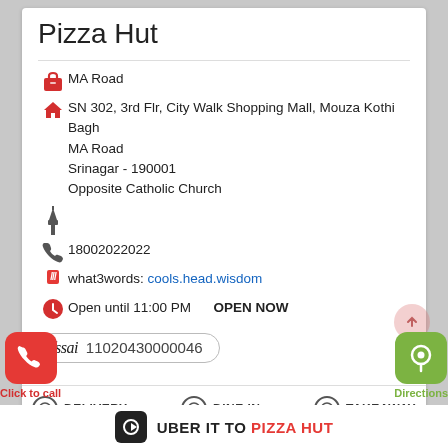Pizza Hut
MA Road
SN 302, 3rd Flr, City Walk Shopping Mall, Mouza Kothi Bagh
MA Road
Srinagar - 190001
Opposite Catholic Church
18002022022
what3words: cools.head.wisdom
Open until 11:00 PM   OPEN NOW
fssai 11020430000046
DELIVERY   DINE IN   TAKEAWAY
Click to call
Directions
UBER IT TO PIZZA HUT